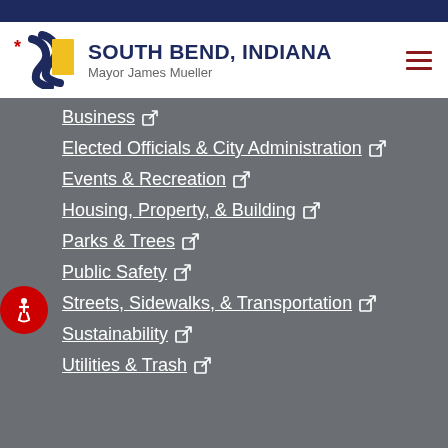South Bend, Indiana — Mayor James James Mueller
Business
Elected Officials & City Administration
Events & Recreation
Housing, Property, & Building
Parks & Trees
Public Safety
Streets, Sidewalks, & Transportation
Sustainability
Utilities & Trash